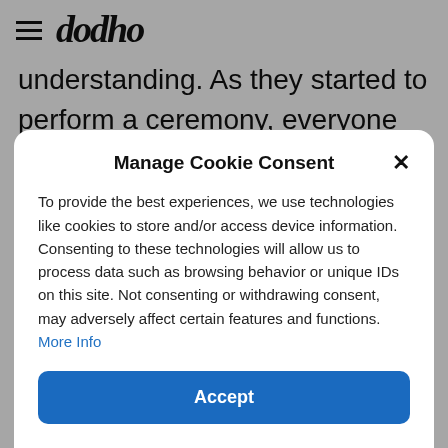dodho
understanding. As they started to perform a ceremony, everyone quieted down and moved aside to give them space. They formed a drum circle and began to dance
Manage Cookie Consent
To provide the best experiences, we use technologies like cookies to store and/or access device information. Consenting to these technologies will allow us to process data such as browsing behavior or unique IDs on this site. Not consenting or withdrawing consent, may adversely affect certain features and functions. More Info
Accept